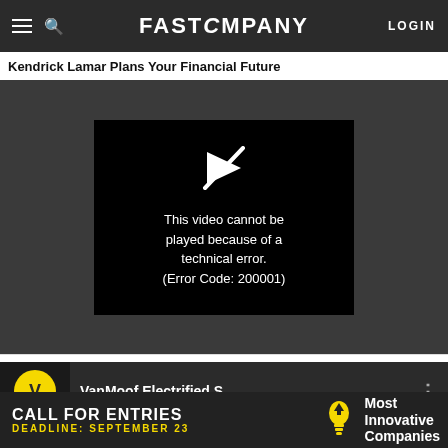FAST COMPANY   LOGIN
Kendrick Lamar Plans Your Financial Future
[Figure (screenshot): Video player showing error message: 'This video cannot be played because of a technical error. (Error Code: 200001)' on a dark background with a crossed-out play icon.]
[Figure (screenshot): Thumbnail for next video: VanMoof Electrified S, showing VanMoof yellow circle logo on dark background]
[Figure (screenshot): Advertisement banner: 'CALL FOR ENTRIES DEADLINE: SEPTEMBER 23' with lightbulb icon and 'Most Innovative Companies' text on dark background]